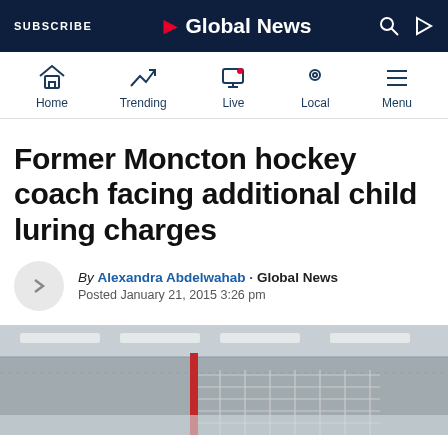Global News — SUBSCRIBE
[Figure (screenshot): Global News app navigation bar with Home, Trending, Live, Local, Menu icons]
Former Moncton hockey coach facing additional child luring charges
By Alexandra Abdelwahab · Global News
Posted January 21, 2015 3:26 pm
[Figure (photo): Hockey rink interior photo showing goal net and arena structure]